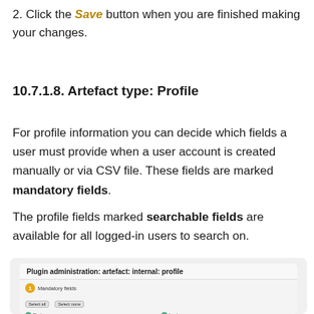2. Click the Save button when you are finished making your changes.
10.7.1.8. Artefact type: Profile
For profile information you can decide which fields a user must provide when a user account is created manually or via CSV file. These fields are marked mandatory fields.
The profile fields marked searchable fields are available for all logged-in users to search on.
[Figure (screenshot): Screenshot of Plugin administration: artefact: internal: profile page showing Mandatory fields section with checkboxes for First name, Last name, Student ID, Display name, Introduction, Email address, Official wroti..., Personal websit...]